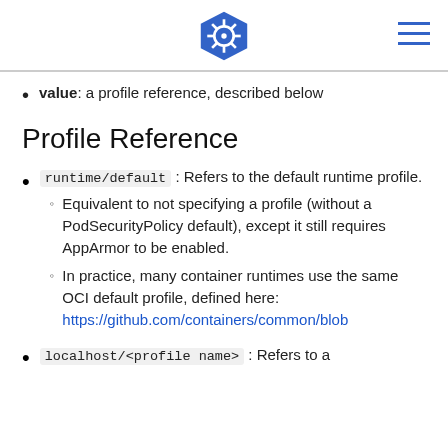Kubernetes logo and navigation
value: a profile reference, described below
Profile Reference
runtime/default : Refers to the default runtime profile.
Equivalent to not specifying a profile (without a PodSecurityPolicy default), except it still requires AppArmor to be enabled.
In practice, many container runtimes use the same OCI default profile, defined here: https://github.com/containers/common/blob...
localhost/<profile name>: Refers to a